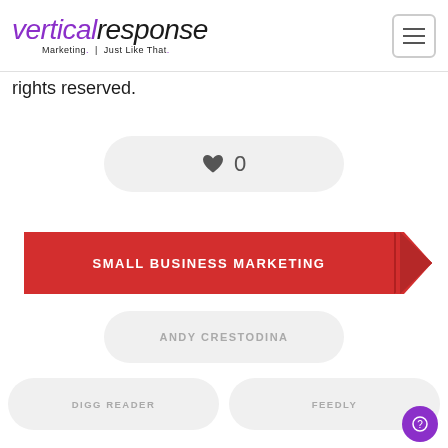VerticalResponse - Marketing. Just Like That.
rights reserved.
[Figure (infographic): Like/heart button pill showing heart icon and count 0]
[Figure (infographic): Red banner with arrow/ribbon shape reading SMALL BUSINESS MARKETING]
[Figure (infographic): Pill button reading ANDY CRESTODINA]
[Figure (infographic): Two pill buttons reading DIGG READER and FEEDLY]
[Figure (infographic): Two pill buttons reading GOOGLE and GOOGLE READER]